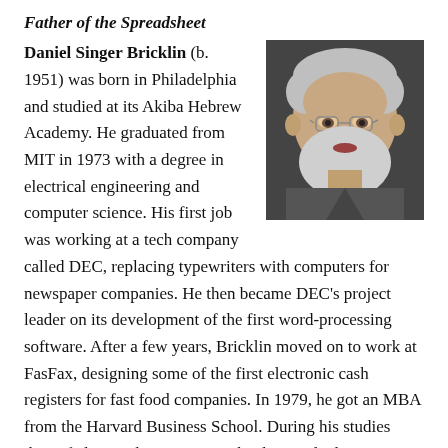Father of the Spreadsheet
[Figure (photo): Headshot portrait of an elderly man with white hair, beard, and glasses against a dark background — Daniel Bricklin]
Daniel Singer Bricklin (b. 1951) was born in Philadelphia and studied at its Akiba Hebrew Academy. He graduated from MIT in 1973 with a degree in electrical engineering and computer science. His first job was working at a tech company called DEC, replacing typewriters with computers for newspaper companies. He then became DEC's project leader on its development of the first word-processing software. After a few years, Bricklin moved on to work at FasFax, designing some of the first electronic cash registers for fast food companies. In 1979, he got an MBA from the Harvard Business School. During his studies there, fed up with repetitive and tedious calculations, Bricklin came up with an idea for an electronic spreadsheet. Teaming up with his friend, the two put together a new